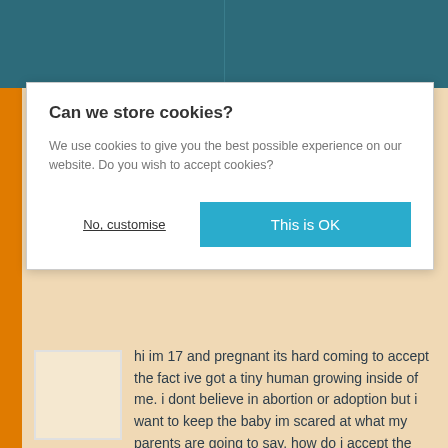[Figure (screenshot): Teal website header bar at top of page]
Can we store cookies?
We use cookies to give you the best possible experience on our website. Do you wish to accept cookies?
No, customise   This is OK
hi im 17 and pregnant its hard coming to accept the fact ive got a tiny human growing inside of me. i dont believe in abortion or adoption but i want to keep the baby im scared at what my parents are going to say. how do i accept the fact im pregnant
28 May 2019